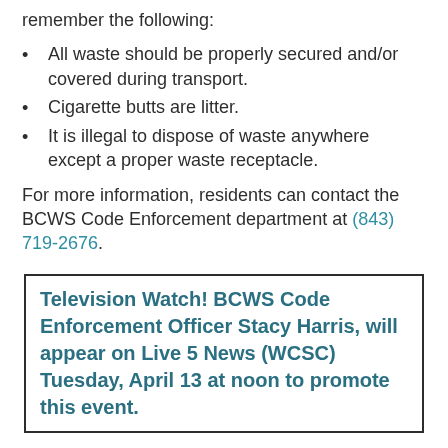remember the following:
All waste should be properly secured and/or covered during transport.
Cigarette butts are litter.
It is illegal to dispose of waste anywhere except a proper waste receptacle.
For more information, residents can contact the BCWS Code Enforcement department at (843) 719-2676.
Television Watch! BCWS Code Enforcement Officer Stacy Harris, will appear on Live 5 News (WCSC) Tuesday, April 13 at noon to promote this event.